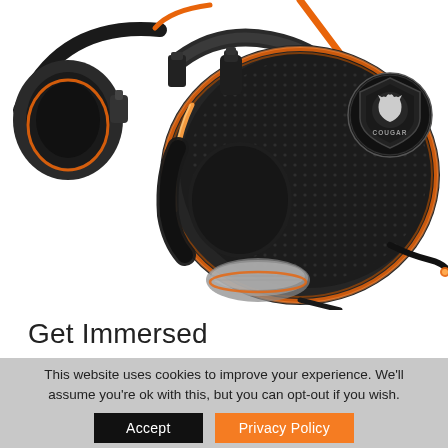[Figure (photo): Close-up product photo of a COUGAR gaming headset with black mesh ear cups, orange RGB lighting ring accent, orange cable, and silver/chrome accents. The COUGAR logo badge is visible on the ear cup. A second headset is partially visible in the upper left corner.]
Get Immersed
This website uses cookies to improve your experience. We'll assume you're ok with this, but you can opt-out if you wish.
Accept    Privacy Policy